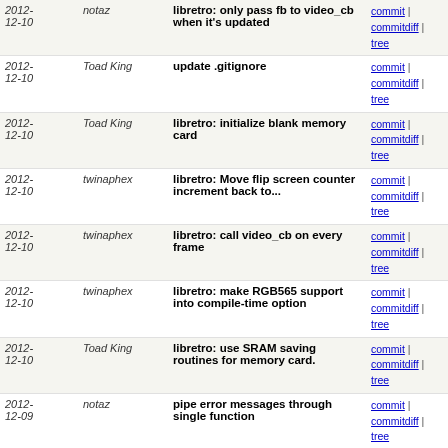| Date | Author | Message | Links |
| --- | --- | --- | --- |
| 2012-12-10 | notaz | libretro: only pass fb to video_cb when it's updated | commit | commitdiff | tree |
| 2012-12-10 | Toad King | update .gitignore | commit | commitdiff | tree |
| 2012-12-10 | Toad King | libretro: initialize blank memory card | commit | commitdiff | tree |
| 2012-12-10 | twinaphex | libretro: Move flip screen counter increment back to... | commit | commitdiff | tree |
| 2012-12-10 | twinaphex | libretro: call video_cb on every frame | commit | commitdiff | tree |
| 2012-12-10 | twinaphex | libretro: make RGB565 support into compile-time option | commit | commitdiff | tree |
| 2012-12-10 | Toad King | libretro: use SRAM saving routines for memory card. | commit | commitdiff | tree |
| 2012-12-09 | notaz | pipe error messages through single function | commit | commitdiff | tree |
| 2012-12-09 | notaz | avoid bogus warning | commit | commitdiff | tree |
| 2012-12-07 | notaz | configure: set float-abi even without armv6 | commit | commitdiff | tree |
| 2012-12-02 | notaz | frontend: fix clean libretro build | commit | commitdiff | tree |
| 2012-12-02 | notaz | rm x86 and ppc dynarec remains | commit | commitdiff | tree |
| 2012-12-02 | notaz | improve ARM feature detection | commit | commitdiff | tree |